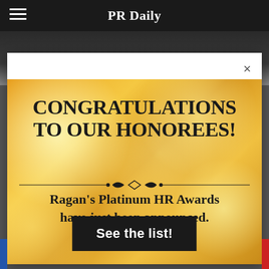PR Daily
[Figure (screenshot): Dark background photo strip with people in formal wear]
CONGRATULATIONS TO OUR HONOREES!
Ragan's Platinum HR Awards have just been announced.
See the list!